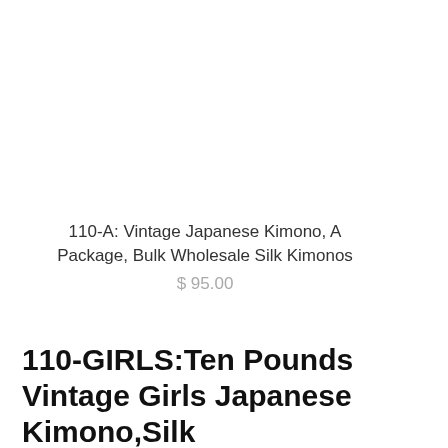110-A: Vintage Japanese Kimono, A Package, Bulk Wholesale Silk Kimonos
$ 95.00
110-GIRLS:Ten Pounds Vintage Girls Japanese Kimono,Silk
Chat with us
QUICK LINKS